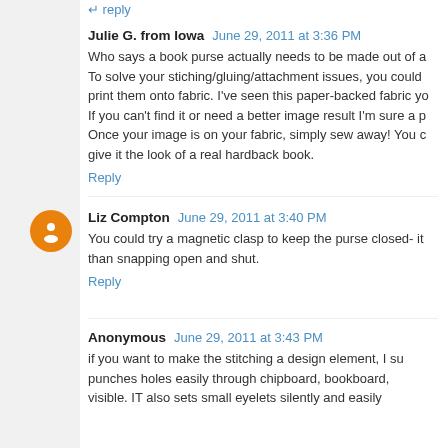reply (truncated at top)
Julie G. from Iowa  June 29, 2011 at 3:36 PM
Who says a book purse actually needs to be made out of a...To solve your stiching/gluing/attachment issues, you could print them onto fabric. I've seen this paper-backed fabric yo... If you can't find it or need a better image result I'm sure a p... Once your image is on your fabric, simply sew away! You c... give it the look of a real hardback book.
Reply
Liz Compton  June 29, 2011 at 3:40 PM
You could try a magnetic clasp to keep the purse closed- it... than snapping open and shut.
Reply
Anonymous  June 29, 2011 at 3:43 PM
if you want to make the stitching a design element, I su... punches holes easily through chipboard, bookboard,... visible. IT also sets small eyelets silently and easily...
[Figure (other): Vrbo advertisement banner with house image, 'Vacation homes for whoever you call family' text, and 'Find yours' blue CTA button]